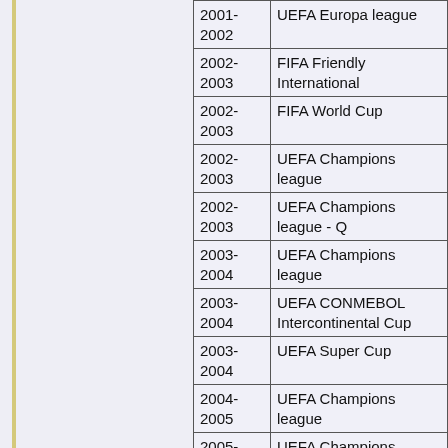| Year | Competition |
| --- | --- |
| 2001-2002 | UEFA Europa league |
| 2002-2003 | FIFA Friendly International |
| 2002-2003 | FIFA World Cup |
| 2002-2003 | UEFA Champions league |
| 2002-2003 | UEFA Champions league - Q |
| 2003-2004 | UEFA Champions league |
| 2003-2004 | UEFA CONMEBOL Intercontinental Cup |
| 2003-2004 | UEFA Super Cup |
| 2004-2005 | UEFA Champions league |
| 2005-2006 | UEFA Champions league |
| 2006-2007 | UEFA Champions league |